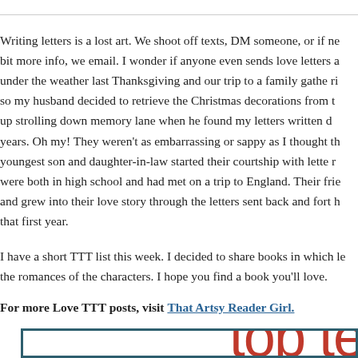Writing letters is a lost art. We shoot off texts, DM someone, or if ne bit more info, we email. I wonder if anyone even sends love letters a under the weather last Thanksgiving and our trip to a family gatheri so my husband decided to retrieve the Christmas decorations from t up strolling down memory lane when he found my letters written d years. Oh my! They weren't as embarrassing or sappy as I thought th youngest son and daughter-in-law started their courtship with lette were both in high school and had met on a trip to England. Their frie and grew into their love story through the letters sent back and fort that first year.
I have a short TTT list this week. I decided to share books in which le the romances of the characters. I hope you find a book you'll love.
For more Love TTT posts, visit That Artsy Reader Girl.
[Figure (other): Partial image of a 'top ten' graphic with red text on white background inside a teal-bordered box, showing 'top te' (cut off)]